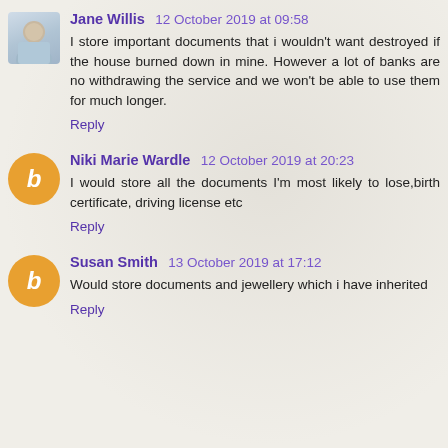Jane Willis  12 October 2019 at 09:58
I store important documents that i wouldn't want destroyed if the house burned down in mine. However a lot of banks are no withdrawing the service and we won't be able to use them for much longer.
Reply
Niki Marie Wardle  12 October 2019 at 20:23
I would store all the documents I'm most likely to lose,birth certificate, driving license etc
Reply
Susan Smith  13 October 2019 at 17:12
Would store documents and jewellery which i have inherited
Reply